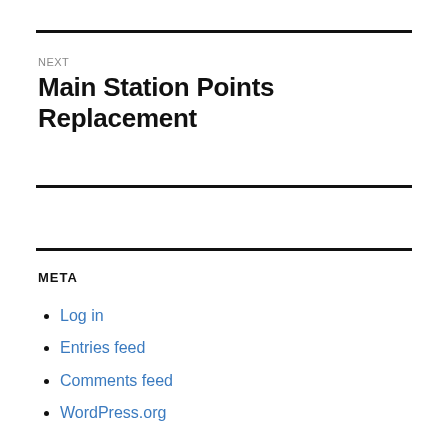NEXT
Main Station Points Replacement
META
Log in
Entries feed
Comments feed
WordPress.org